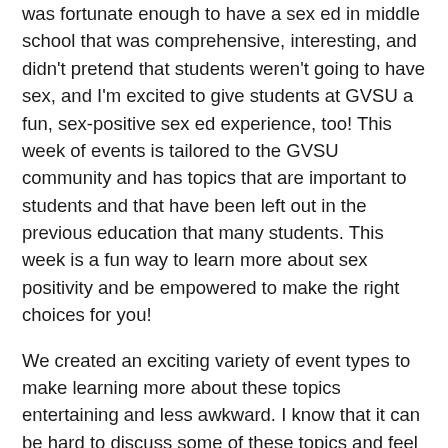was fortunate enough to have a sex ed in middle school that was comprehensive, interesting, and didn't pretend that students weren't going to have sex, and I'm excited to give students at GVSU a fun, sex-positive sex ed experience, too! This week of events is tailored to the GVSU community and has topics that are important to students and that have been left out in the previous education that many students. This week is a fun way to learn more about sex positivity and be empowered to make the right choices for you!
We created an exciting variety of event types to make learning more about these topics entertaining and less awkward. I know that it can be hard to discuss some of these topics and feel a little uncomfortable because this could be the first time some are learning these things or maybe they just feel taboo because they aren't talked about as often as they should be, but our hope is to create a fun, welcoming environment where everyone can feel comfortable asking questions and learn something along